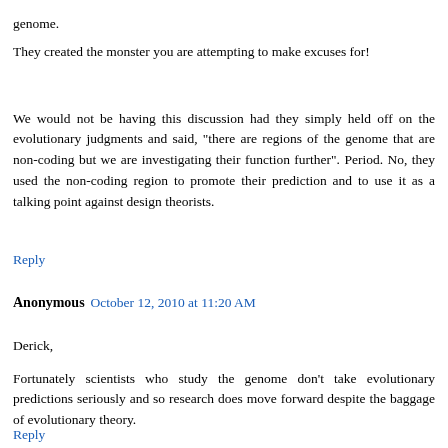genome.
They created the monster you are attempting to make excuses for!
We would not be having this discussion had they simply held off on the evolutionary judgments and said, "there are regions of the genome that are non-coding but we are investigating their function further". Period. No, they used the non-coding region to promote their prediction and to use it as a talking point against design theorists.
Reply
Anonymous  October 12, 2010 at 11:20 AM
Derick,
Fortunately scientists who study the genome don't take evolutionary predictions seriously and so research does move forward despite the baggage of evolutionary theory.
Reply